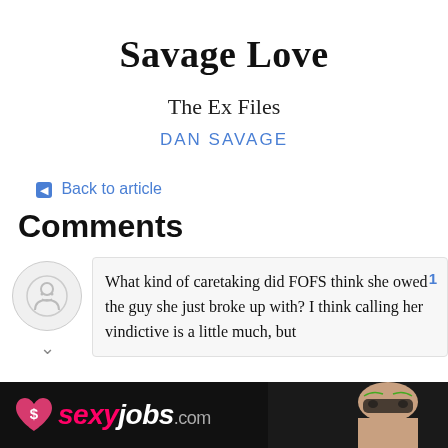Savage Love
The Ex Files
DAN SAVAGE
← Back to article
Comments
What kind of caretaking did FOFS think she owed the guy she just broke up with? I think calling her vindictive is a little much, but
[Figure (other): sexyjobs.com advertisement banner with pink heart logo and woman in mask]